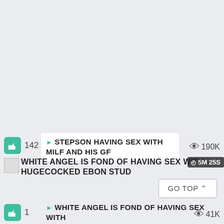142
STEPSON HAVING SEX WITH MILF AND HIS GF
190K
WHITE ANGEL IS FOND OF HAVING SEX WITH HUGECOCKED EBON STUD
5M 25S
1
WHITE ANGEL IS FOND OF HAVING SEX WITH
41K
GO TOP ^